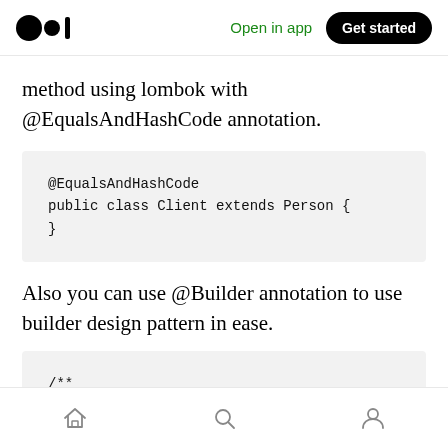Medium | Open in app | Get started
method using lombok with @EqualsAndHashCode annotation.
@EqualsAndHashCode
public class Client extends Person {
}
Also you can use @Builder annotation to use builder design pattern in ease.
/**
Home | Search | Profile